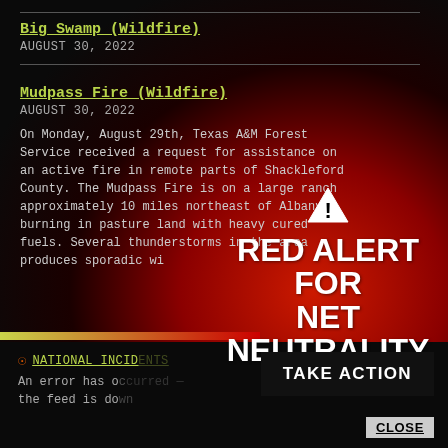Big Swamp (Wildfire)
AUGUST 30, 2022
Mudpass Fire (Wildfire)
AUGUST 30, 2022
On Monday, August 29th, Texas A&M Forest Service received a request for assistance on an active fire in remote parts of Shackleford County. The Mudpass Fire is on a large ranch approximately 10 miles northeast of Albany, burning in pasture land with heavy cured fuels. Several thunderstorms in the area produces sporadic winds...
[Figure (infographic): Red Alert overlay with warning triangle icon and text RED ALERT FOR NET NEUTRALITY with a TAKE ACTION button and CLOSE link]
NATIONAL INCIDENTS
An error has occurred — the feed is down